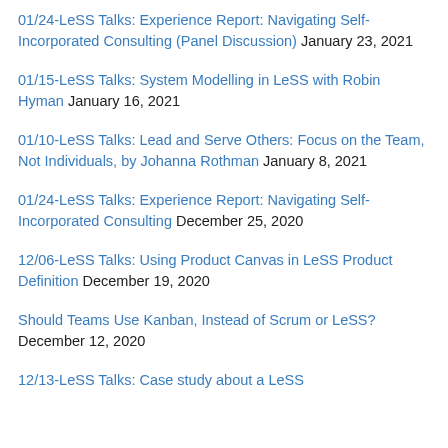01/24-LeSS Talks: Experience Report: Navigating Self-Incorporated Consulting (Panel Discussion) January 23, 2021
01/15-LeSS Talks: System Modelling in LeSS with Robin Hyman January 16, 2021
01/10-LeSS Talks: Lead and Serve Others: Focus on the Team, Not Individuals, by Johanna Rothman January 8, 2021
01/24-LeSS Talks: Experience Report: Navigating Self-Incorporated Consulting December 25, 2020
12/06-LeSS Talks: Using Product Canvas in LeSS Product Definition December 19, 2020
Should Teams Use Kanban, Instead of Scrum or LeSS? December 12, 2020
12/13-LeSS Talks: Case study about a LeSS